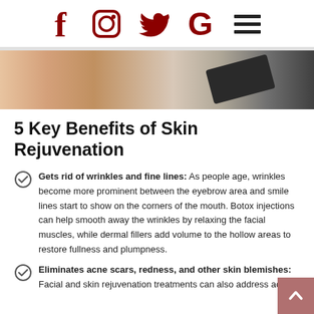Social media icons: Facebook, Instagram, Twitter, Google, Menu
[Figure (photo): Close-up photo of skin treatment area, showing skin tones and a dark fabric/strap]
5 Key Benefits of Skin Rejuvenation
Gets rid of wrinkles and fine lines: As people age, wrinkles become more prominent between the eyebrow area and smile lines start to show on the corners of the mouth. Botox injections can help smooth away the wrinkles by relaxing the facial muscles, while dermal fillers add volume to the hollow areas to restore fullness and plumpness.
Eliminates acne scars, redness, and other skin blemishes: Facial and skin rejuvenation treatments can also address acne